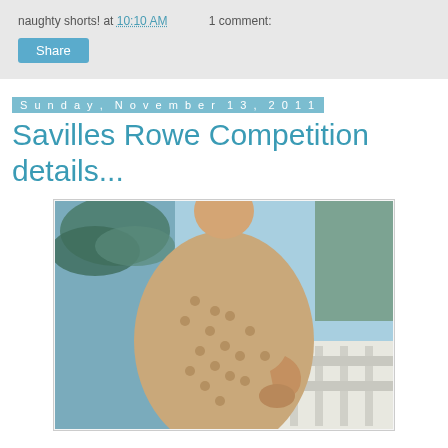naughty shorts! at 10:10 AM   1 comment:
Share
Sunday, November 13, 2011
Savilles Rowe Competition details...
[Figure (photo): A person wearing a loose beige/tan patterned dress, photographed from behind with hand on hip, outdoors with palm trees and a white railing visible in the background.]